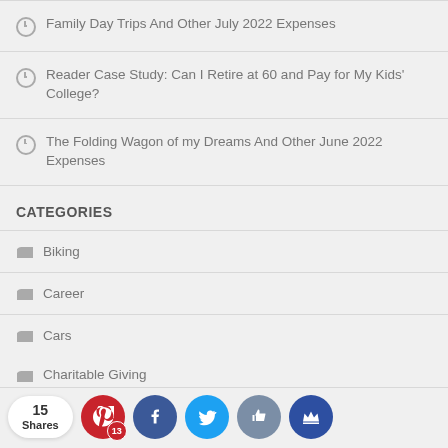Family Day Trips And Other July 2022 Expenses
Reader Case Study: Can I Retire at 60 and Pay for My Kids' College?
The Folding Wagon of my Dreams And Other June 2022 Expenses
CATEGORIES
Biking
Career
Cars
Charitable Giving